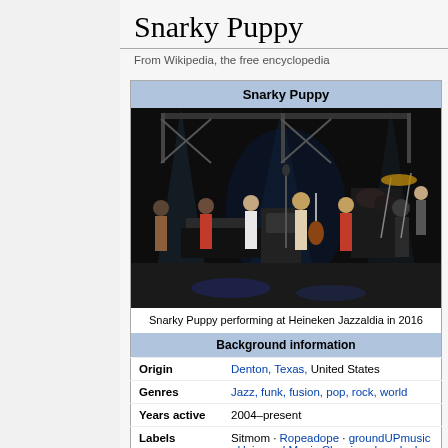Snarky Puppy
From Wikipedia, the free encyclopedia
[Figure (photo): Wikipedia infobox for Snarky Puppy showing band photo performing at Heineken Jazzaldia in 2016, with background information including Origin: Denton, Texas, United States; Genres: Jazz, funk, fusion, pop, rock, world; Years active: 2004–present; Labels: Sitmom · Ropeadope · groundUPmusic · Universal Music Classics · Impulse!]